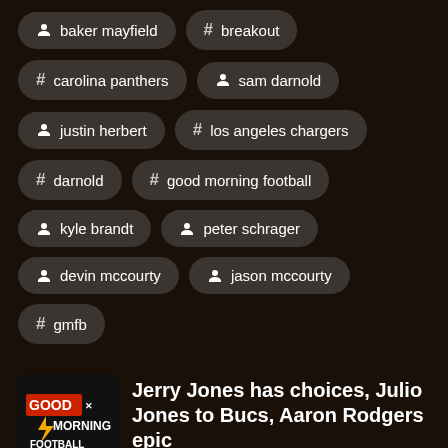baker mayfield
# breakout
# carolina panthers
sam darnold
justin herbert
# los angeles chargers
# darnold
# good morning football
kyle brandt
peter schrager
devin mccourty
jason mccourty
# gmfb
[Figure (logo): Good Morning Football logo thumbnail]
Jerry Jones has choices, Julio Jones to Bucs, Aaron Rodgers epic